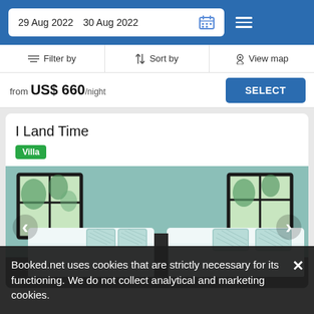29 Aug 2022  30 Aug 2022
Filter by  |  Sort by  |  View map
from US$ 660/night  SELECT
I Land Time
Villa
[Figure (photo): Interior bedroom photo showing two white beds with teal/blue patterned pillows against a seafoam green wall with black-framed windows showing trees outside]
Booked.net uses cookies that are strictly necessary for its functioning. We do not collect analytical and marketing cookies.